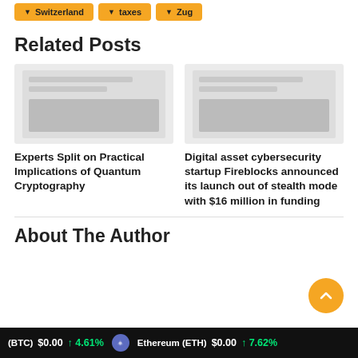Switzerland
taxes
Zug
Related Posts
[Figure (photo): Thumbnail image placeholder for related post about Quantum Cryptography]
Experts Split on Practical Implications of Quantum Cryptography
[Figure (photo): Thumbnail image placeholder for related post about Fireblocks funding]
Digital asset cybersecurity startup Fireblocks announced its launch out of stealth mode with $16 million in funding
About The Author
(BTC) $0.00 ↑ 4.61%   Ethereum (ETH) $0.00 ↑ 7.62%